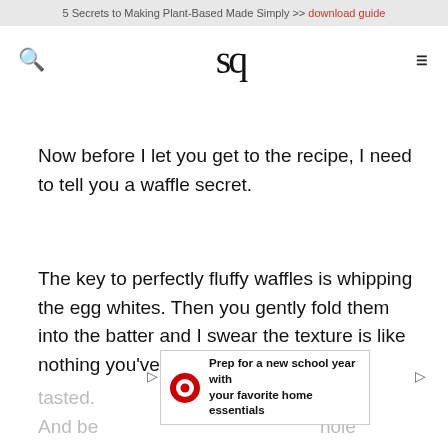5 Secrets to Making Plant-Based Made Simply >> download guide
[Figure (logo): SQ logo and navigation bar with search icon and hamburger menu]
Now before I let you get to the recipe, I need to tell you a waffle secret.
The key to perfectly fluffy waffles is whipping the egg whites. Then you gently fold them into the batter and I swear the texture is like nothing you've tasted. flavor. And be hole grain, gluten-free flours, they're also healthy!
[Figure (infographic): Target advertisement banner: Prep for a new school year with your favorite home essentials, with Target bullseye logo]